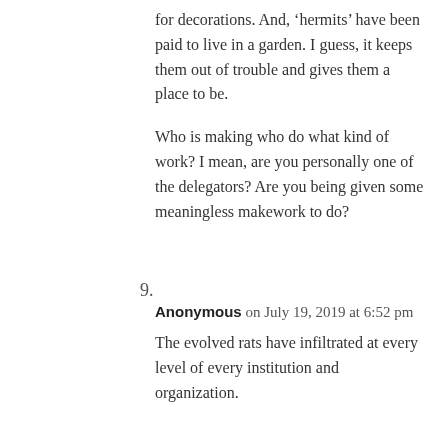for decorations. And, 'hermits' have been paid to live in a garden. I guess, it keeps them out of trouble and gives them a place to be.
Who is making who do what kind of work? I mean, are you personally one of the delegators? Are you being given some meaningless makework to do?
9.
Anonymous on July 19, 2019 at 6:52 pm
The evolved rats have infiltrated at every level of every institution and organization.
10.
Elkhound on July 19, 2019 at 7:42 pm
One of the biggest problems is there's too many